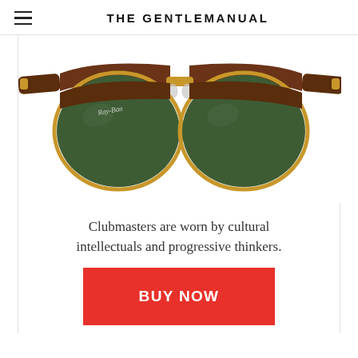THE GENTLEMANUAL
[Figure (photo): Ray-Ban Clubmaster sunglasses with tortoise shell brown frame on top, gold metal lower frame, and dark green lenses, shown on a white background]
Clubmasters are worn by cultural intellectuals and progressive thinkers.
BUY NOW